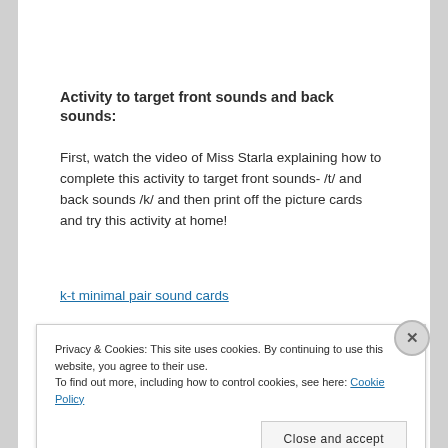Activity to target front sounds and back sounds:
First, watch the video of Miss Starla explaining how to complete this activity to target front sounds- /t/ and back sounds /k/ and then print off the picture cards and try this activity at home!
k-t minimal pair sound cards
Privacy & Cookies: This site uses cookies. By continuing to use this website, you agree to their use.
To find out more, including how to control cookies, see here: Cookie Policy